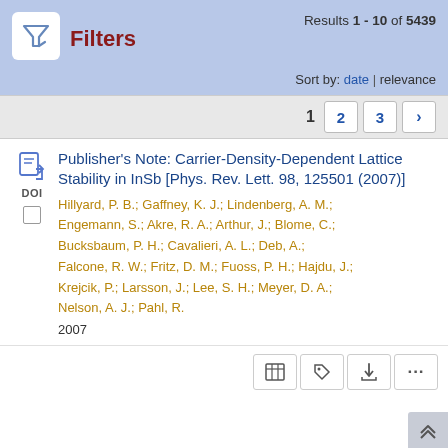Results 1 - 10 of 5439
Sort by: date | relevance
1  2  3  >
Publisher's Note: Carrier-Density-Dependent Lattice Stability in InSb [Phys. Rev. Lett. 98, 125501 (2007)]
Hillyard, P. B.; Gaffney, K. J.; Lindenberg, A. M.; Engemann, S.; Akre, R. A.; Arthur, J.; Blome, C.; Bucksbaum, P. H.; Cavalieri, A. L.; Deb, A.; Falcone, R. W.; Fritz, D. M.; Fuoss, P. H.; Hajdu, J.; Krejcik, P.; Larsson, J.; Lee, S. H.; Meyer, D. A.; Nelson, A. J.; Pahl, R.
2007